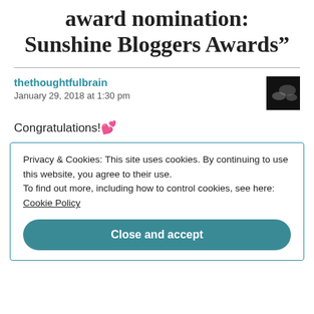award nomination: Sunshine Bloggers Awards”
thethoughtfulbrain
January 29, 2018 at 1:30 pm
Congratulations!💕
Privacy & Cookies: This site uses cookies. By continuing to use this website, you agree to their use. To find out more, including how to control cookies, see here: Cookie Policy
Close and accept